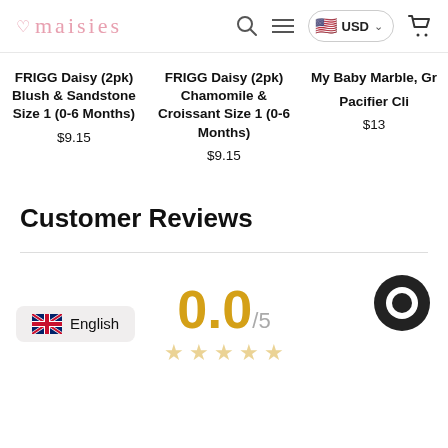maisies — navigation header with search, menu, USD currency, and cart icons
FRIGG Daisy (2pk) Blush & Sandstone Size 1 (0-6 Months)
$9.15
FRIGG Daisy (2pk) Chamomile & Croissant Size 1 (0-6 Months)
$9.15
My Baby Marble, Gr Pacifier Cli
$13
Customer Reviews
0.0/5 — 5 empty stars
English